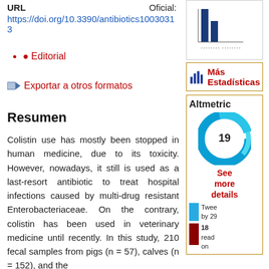URL
Oficial:
https://doi.org/10.3390/antibiotics10030313
Editorial
Exportar a otros formatos
Resumen
Colistin use has mostly been stopped in human medicine, due to its toxicity. However, nowadays, it still is used as a last-resort antibiotic to treat hospital infections caused by multi-drug resistant Enterobacteriaceae. On the contrary, colistin has been used in veterinary medicine until recently. In this study, 210 fecal samples from pigs (n = 57), calves (n = 152), and the
[Figure (bar-chart): Small bar chart thumbnail in top right sidebar]
[Figure (infographic): Más Estadísticas button with bar chart icon]
[Figure (donut-chart): Altmetric badge showing score 19 as a donut chart with blue swirl]